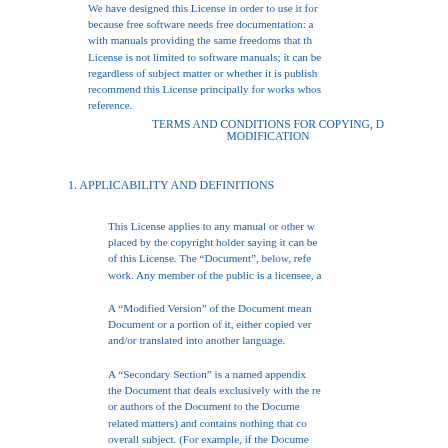We have designed this License in order to use it for because free software needs free documentation: a with manuals providing the same freedoms that th License is not limited to software manuals; it can be regardless of subject matter or whether it is publish recommend this License principally for works whos reference.
TERMS AND CONDITIONS FOR COPYING, D MODIFICATION
1. APPLICABILITY AND DEFINITIONS
This License applies to any manual or other placed by the copyright holder saying it can be of this License. The “Document”, below, refe work. Any member of the public is a licensee, a
A “Modified Version” of the Document mean Document or a portion of it, either copied ver and/or translated into another language.
A “Secondary Section” is a named appendix the Document that deals exclusively with the re or authors of the Document to the Docume related matters) and contains nothing that co overall subject. (For example, if the Docume mathematics, a Secondary Section may not The relationship could be a matter of historical or with related matters, or of legal, comme